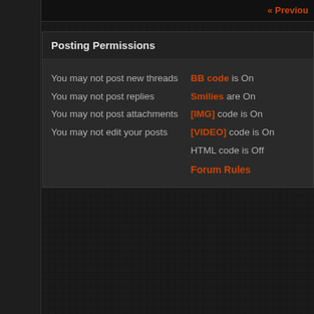« Previous
Posting Permissions
You may not post new threads
You may not post replies
You may not post attachments
You may not edit your posts
BB code is On
Smilies are On
[IMG] code is On
[VIDEO] code is On
HTML code is Off
Forum Rules